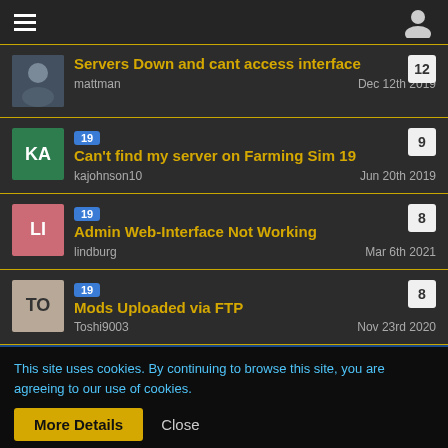hamburger menu | user icon
Servers Down and cant access interface | mattman | Dec 12th 2019 | 12
Can't find my server on Farming Sim 19 | kajohnson10 | Jun 20th 2019 | 9
Admin Web-Interface Not Working | lindburg | Mar 6th 2021 | 8
Mods Uploaded via FTP | Toshi9003 | Nov 23rd 2020 | 8
This site uses cookies. By continuing to browse this site, you are agreeing to our use of cookies.
More Details | Close